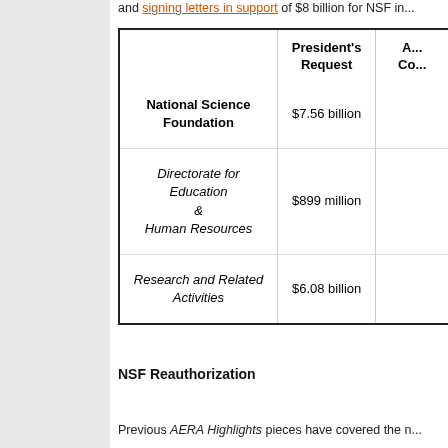and signing letters in support of $8 billion for NSF in...
|  | President's Request | A... Co... |
| --- | --- | --- |
| National Science Foundation | $7.56 billion |  |
| Directorate for Education & Human Resources | $899 million |  |
| Research and Related Activities | $6.08 billion |  |
NSF Reauthorization
Previous AERA Highlights pieces have covered the n...